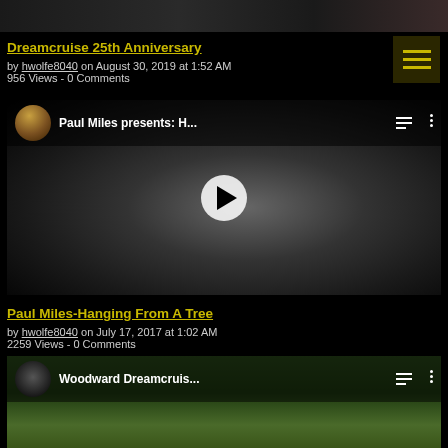[Figure (screenshot): Top cropped image banner — partial view of a previous post image]
Dreamcruise 25th Anniversary
by hwolfe8040 on August 30, 2019 at 1:52 AM
956 Views - 0 Comments
[Figure (screenshot): Embedded YouTube video player showing Paul Miles presents: H... — black and white photo of a man in a suit with head bowed]
Paul Miles-Hanging From A Tree
by hwolfe8040 on July 17, 2017 at 1:02 AM
2259 Views - 0 Comments
[Figure (screenshot): Embedded YouTube video player showing Woodward Dreamcruis... — outdoor scene with a car]